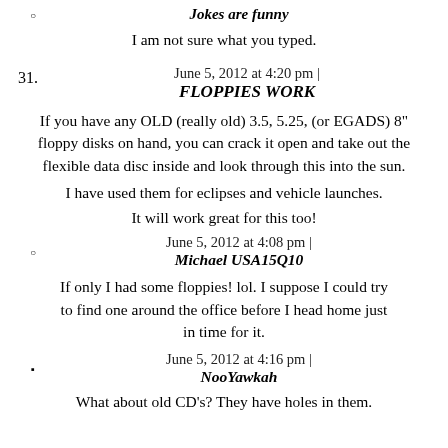Jokes are funny
I am not sure what you typed.
June 5, 2012 at 4:20 pm |
31. FLOPPIES WORK
If you have any OLD (really old) 3.5, 5.25, (or EGADS) 8" floppy disks on hand, you can crack it open and take out the flexible data disc inside and look through this into the sun.
I have used them for eclipses and vehicle launches.
It will work great for this too!
June 5, 2012 at 4:08 pm |
Michael USA15Q10
If only I had some floppies! lol. I suppose I could try to find one around the office before I head home just in time for it.
June 5, 2012 at 4:16 pm |
NooYawkah
What about old CD's? They have holes in them.